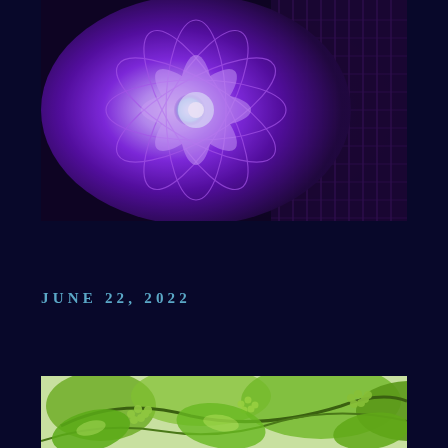[Figure (photo): Close-up photograph of a purple dahlia flower glowing with vivid violet-purple light against a dark background with wicker texture visible on the right side]
JUNE 22, 2022
[Figure (photo): Photograph of green grapevine with clusters of small unripe grapes and large green leaves, shot in natural daylight]